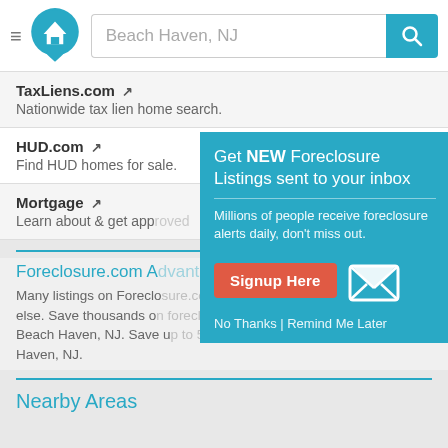Beach Haven, NJ
TaxLiens.com - Nationwide tax lien home search.
HUD.com - Find HUD homes for sale.
Mortgage - Learn about & get approved
Foreclosure.com A - Many listings on Foreclo else. Save thousands on Beach Haven, NJ. Save up Haven, NJ.
[Figure (screenshot): Popup overlay: Get NEW Foreclosure Listings sent to your inbox. Millions of people receive foreclosure alerts daily, don't miss out. Signup Here button. No Thanks | Remind Me Later]
Nearby Areas